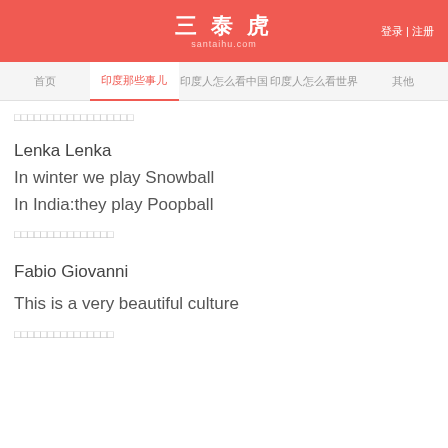三泰虎 santaihu.com | 登录 | 注册
首页 印度那些事儿 印度人怎么看中国 印度人怎么看世界 其他
□□□□□□□□□□□□□□□□□□
Lenka Lenka
In winter we play Snowball
In India:they play Poopball
□□□□□□□□□□□□□□
Fabio Giovanni
This is a very beautiful culture
□□□□□□□□□□□□□□